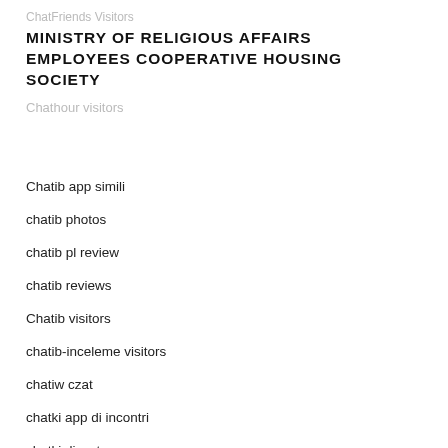MINISTRY OF RELIGIOUS AFFAIRS EMPLOYEES COOPERATIVE HOUSING SOCIETY
Chatib app simili
chatib photos
chatib pl review
chatib reviews
Chatib visitors
chatib-inceleme visitors
chatiw czat
chatki app di incontri
chatki discuter
chatki reviews